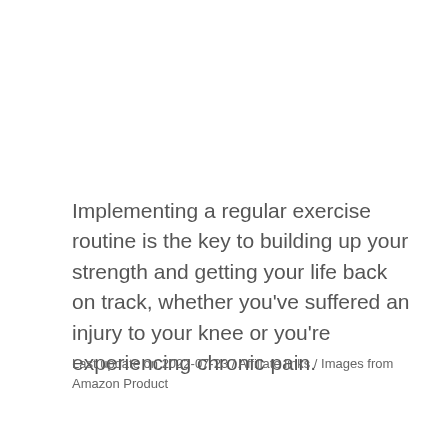Implementing a regular exercise routine is the key to building up your strength and getting your life back on track, whether you've suffered an injury to your knee or you're experiencing chronic pain.
Last update on 2022-07-23 / Affiliate links / Images from Amazon Product